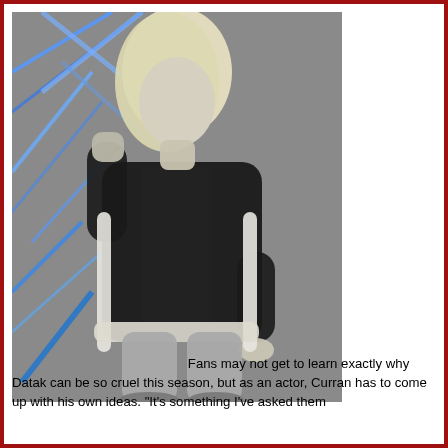[Figure (photo): A person with long blond hair seated in a white chair, dressed in dark jacket and grey trousers, with a pale complexion, posing with one fist raised. Background features blue geometric neon lines on a grey surface.]
Fans may not get to learn exactly why Datak can be so cruel this season, but as an actor, Curran has to come up with his own ideas. "It's something I've asked them